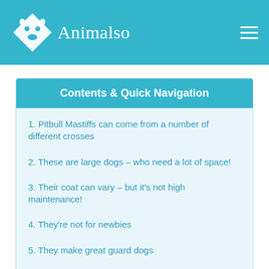Animalso
Contents & Quick Navigation
1. Pitbull Mastiffs can come from a number of different crosses
2. These are large dogs – who need a lot of space!
3. Their coat can vary – but it's not high maintenance!
4. They're not for newbies
5. They make great guard dogs
6. They can be dog reactive
7. Health problems